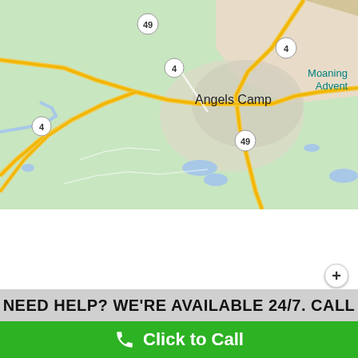[Figure (map): Google Maps screenshot showing Angels Camp area in California with highways 49 and 4 visible, green terrain, and text labels including 'Angels Camp' and 'Moaning Advent' (truncated)]
NEED HELP? WE'RE AVAILABLE 24/7. CALL
Click to Call